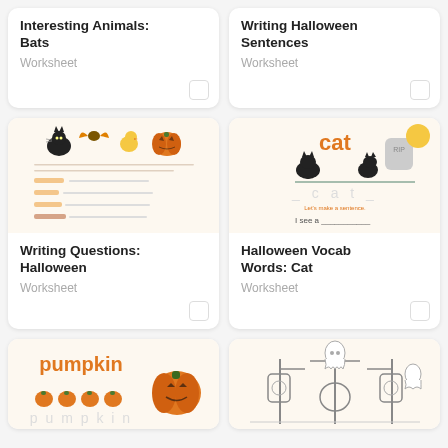Interesting Animals: Bats
Worksheet
Writing Halloween Sentences
Worksheet
[Figure (illustration): Halloween worksheet showing cats, bats, and pumpkins with fill-in-the-blank sentences]
Writing Questions: Halloween
Worksheet
[Figure (illustration): Halloween vocabulary worksheet featuring the word 'cat' with black cat and graveyard scene, tracing lines and sentence writing]
Halloween Vocab Words: Cat
Worksheet
[Figure (illustration): Pumpkin vocabulary worksheet with the word 'pumpkin' in orange, pumpkin illustrations, and tracing lines]
[Figure (illustration): Halloween scene with lanterns, ghosts, and decorative elements in line drawing style]